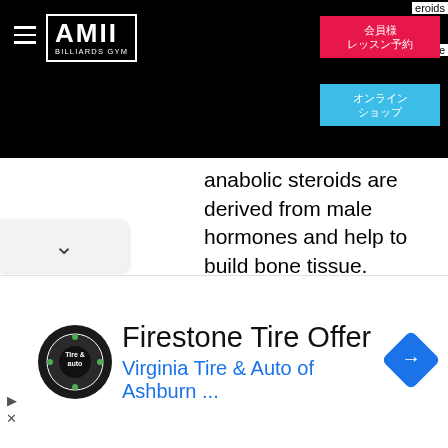AMII BILLIARDS GYM — navigation with 会員様レッスン予約 and オンラインショップ buttons
anabolic steroids are derived from male hormones and help to build bone tissue, muscle tissue, and other tissues in the body. What are anabolic steroids? anabolic steroids are synthetic substances similar to the male hormone testosterone. Doctors prescribe them to. Sometimes hiv-positive men develop low testosterone levels which can cause symptoms of fatigue, muscle wasting, low (or no) sex drive, impotence, and loss of
ENDSN
Similar articles:
[Figure (screenshot): Advertisement for Firestone Tire Offer — Virginia Tire & Auto of Ashburn with tire & auto logo circle, navigation arrows, and blue diamond arrow icon]